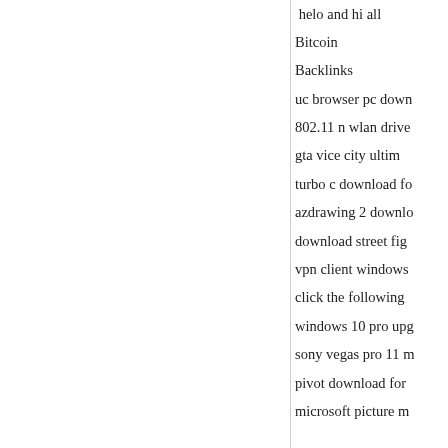helo and hi all
Bitcoin
Backlinks
uc browser pc down
802.11 n wlan drive
gta vice city ultim
turbo c download fo
azdrawing 2 downlo
download street fig
vpn client windows
click the following
windows 10 pro upgg
sony vegas pro 11 m
pivot download for
microsoft picture m